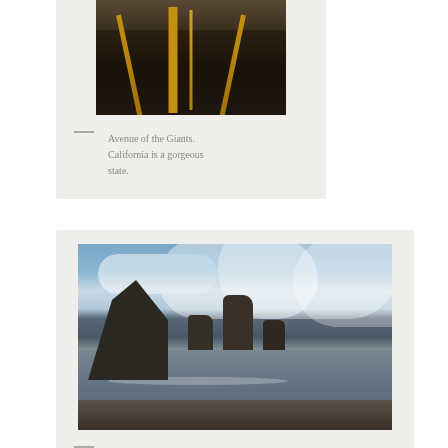[Figure (photo): A road (Avenue of the Giants) viewed from above, showing dark asphalt with yellow center lines and tree shadows, surrounded by trees.]
— Avenue of the Giants. California is a gorgeous state.
[Figure (photo): A coastal scene showing the Pacific Ocean in Humboldt county with large rock formations, sea stacks, waves, sandy beach, and a cloudy sky.]
— View of the Pacific Ocean up in Humboldt county